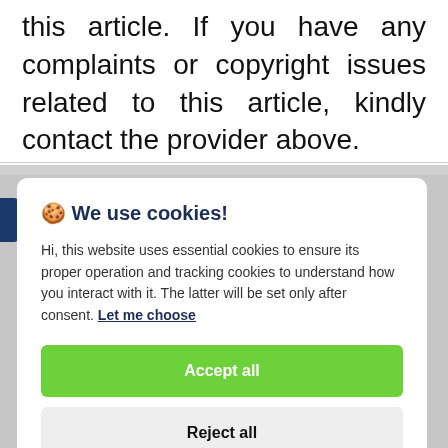this article. If you have any complaints or copyright issues related to this article, kindly contact the provider above.
🍪 We use cookies!

Hi, this website uses essential cookies to ensure its proper operation and tracking cookies to understand how you interact with it. The latter will be set only after consent. Let me choose

[Accept all] [Reject all]